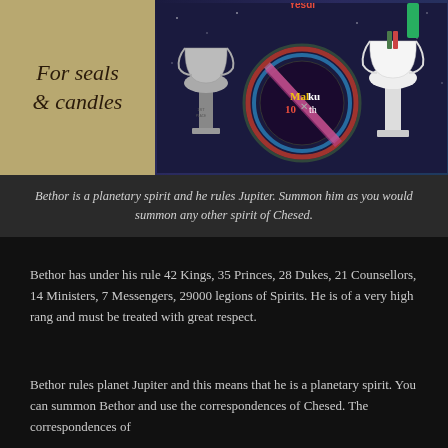[Figure (infographic): Left side: tan/gold panel with italic script text 'For seals & candles'. Right side: dark blue/purple mystical diagram with trophy cups, circular medallion showing 'Mal 10 ku th' with colored rings, on a cosmic/astronomical background.]
Bethor is a planetary spirit and he rules Jupiter. Summon him as you would summon any other spirit of Chesed.
Bethor has under his rule 42 Kings, 35 Princes, 28 Dukes, 21 Counsellors, 14 Ministers, 7 Messengers, 29000 legions of Spirits. He is of a very high rang and must be treated with great respect.
Bethor rules planet Jupiter and this means that he is a planetary spirit. You can summon Bethor and use the correspondences of Chesed. The correspondences of